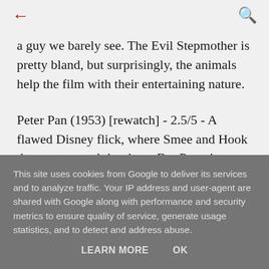← (back) | (search)
a guy we barely see. The Evil Stepmother is pretty bland, but surprisingly, the animals help the film with their entertaining nature.
Peter Pan (1953) [rewatch] - 2.5/5 - A flawed Disney flick, where Smee and Hook threaten to steal the show. But Peter is unlikeable, and the
This site uses cookies from Google to deliver its services and to analyze traffic. Your IP address and user-agent are shared with Google along with performance and security metrics to ensure quality of service, generate usage statistics, and to detect and address abuse.
LEARN MORE   OK